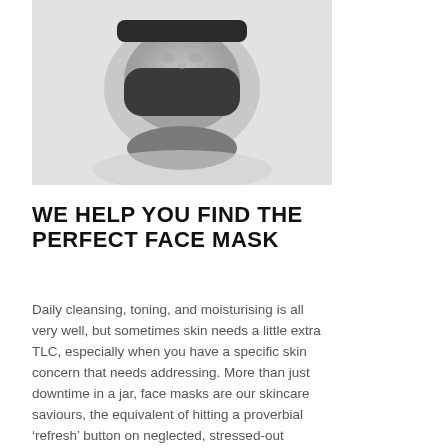[Figure (photo): Grayscale photo of a person lying down with a dark face mask applied, viewed from above. The person has hair pulled back and is resting on a white surface.]
WE HELP YOU FIND THE PERFECT FACE MASK
Daily cleansing, toning, and moisturising is all very well, but sometimes skin needs a little extra TLC, especially when you have a specific skin concern that needs addressing. More than just downtime in a jar, face masks are our skincare saviours, the equivalent of hitting a proverbial ‘refresh’ button on neglected, stressed-out complexions.